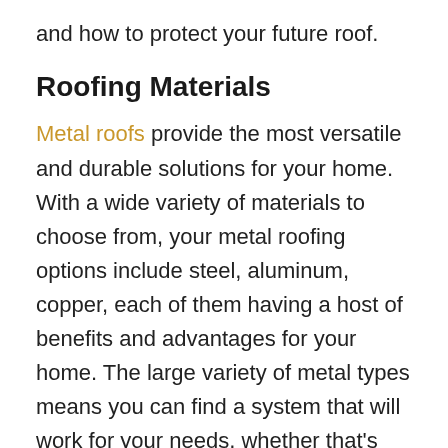and how to protect your future roof.
Roofing Materials
Metal roofs provide the most versatile and durable solutions for your home. With a wide variety of materials to choose from, your metal roofing options include steel, aluminum, copper, each of them having a host of benefits and advantages for your home. The large variety of metal types means you can find a system that will work for your needs, whether that's cost, durability, or aesthetic value